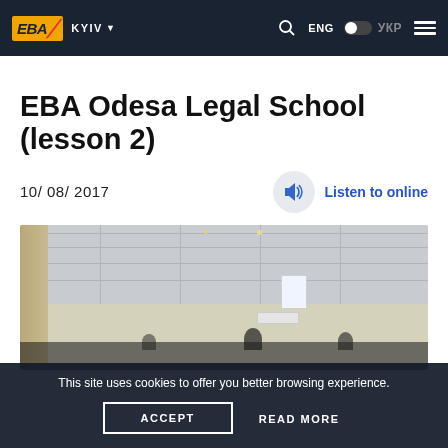EBA KYIV ENG УКР
EBA Odesa Legal School (lesson 2)
10/ 08/ 2017
Listen to online
[Figure (photo): Interior of a classroom or meeting room showing ceiling tiles, white walls, an air conditioning unit, and a bright window]
This site uses cookies to offer you better browsing experience.
ACCEPT
READ MORE